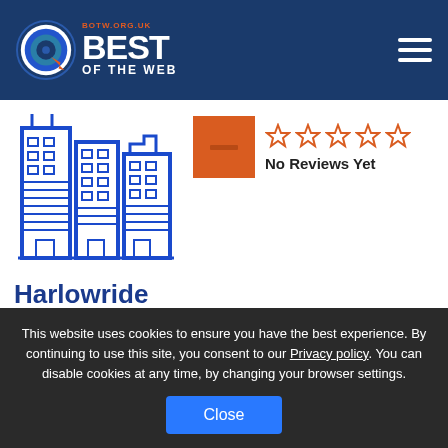BEST OF THE WEB — botw.org.uk
[Figure (logo): Best of the Web logo with circular target icon and text BEST OF THE WEB, botw.org.uk]
[Figure (illustration): Blue line-art icon showing city buildings/skyscrapers]
[Figure (other): Orange square with minus sign and 5 empty star ratings, labeled No Reviews Yet]
Harlowride
Harlow, ESS
Covers bus and coach travel services to and from Harlow
This website uses cookies to ensure you have the best experience. By continuing to use this site, you consent to our Privacy policy. You can disable cookies at any time, by changing your browser settings.